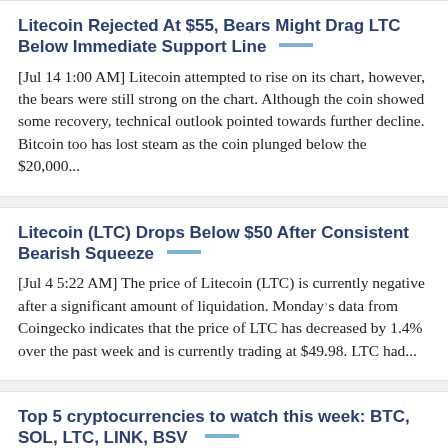Litecoin Rejected At $55, Bears Might Drag LTC Below Immediate Support Line
[Jul 14 1:00 AM] Litecoin attempted to rise on its chart, however, the bears were still strong on the chart. Although the coin showed some recovery, technical outlook pointed towards further decline. Bitcoin too has lost steam as the coin plunged below the $20,000...
Litecoin (LTC) Drops Below $50 After Consistent Bearish Squeeze
[Jul 4 5:22 AM] The price of Litecoin (LTC) is currently negative after a significant amount of liquidation. Monday’s data from Coingecko indicates that the price of LTC has decreased by 1.4% over the past week and is currently trading at $49.98. LTC had...
Top 5 cryptocurrencies to watch this week: BTC, SOL, LTC, LINK, BSV